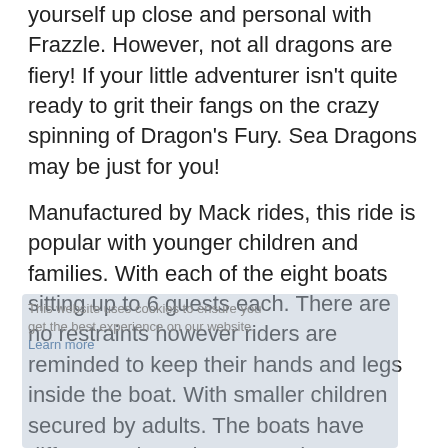yourself up close and personal with Frazzle. However, not all dragons are fiery! If your little adventurer isn't quite ready to grit their fangs on the crazy spinning of Dragon's Fury. Sea Dragons may be just for you!
Manufactured by Mack rides, this ride is popular with younger children and families. With each of the eight boats sitting up to 6 guests each. There are no restraints however riders are reminded to keep their hands and legs inside the boat. With smaller children secured by adults. The boats have different coloured masts and figureheads to add to the theme.